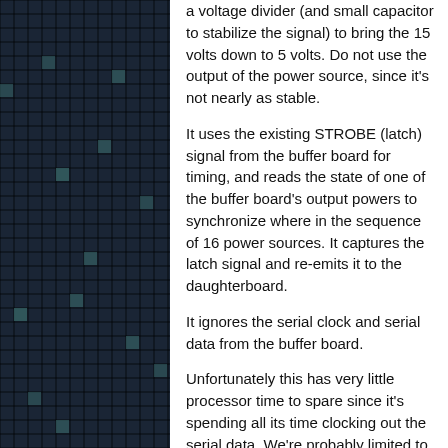[Figure (other): Grid pattern image on the left side of the page, showing a dark blue/teal grid with small squares.]
a voltage divider (and small capacitor to stabilize the signal) to bring the 15 volts down to 5 volts. Do not use the output of the power source, since it's not nearly as stable.
It uses the existing STROBE (latch) signal from the buffer board for timing, and reads the state of one of the buffer board's output powers to synchronize where in the sequence of 16 power sources. It captures the latch signal and re-emits it to the daughterboard.
It ignores the serial clock and serial data from the buffer board.
Unfortunately this has very little processor time to spare since it's spending all its time clocking out the serial data. We're probably limited to very basic patterns on here.